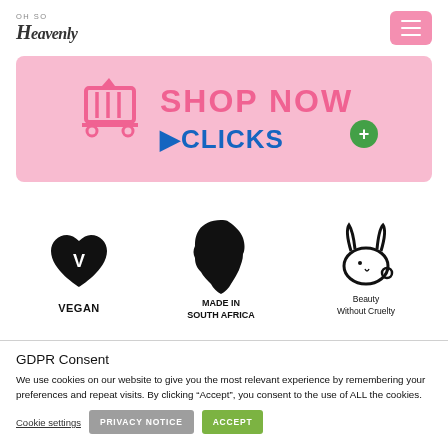Oh So Heavenly — navigation header with menu button
[Figure (illustration): Pink banner with shopping basket icon, 'SHOP NOW' text in pink, and 'CLICKS+' logo in blue on a light pink rounded rectangle background]
[Figure (logo): Three certification badges: Vegan (heart with V), Made in South Africa (Africa map silhouette), Beauty Without Cruelty (running rabbit)]
GDPR Consent
We use cookies on our website to give you the most relevant experience by remembering your preferences and repeat visits. By clicking “Accept”, you consent to the use of ALL the cookies.
Cookie settings  PRIVACY NOTICE  ACCEPT